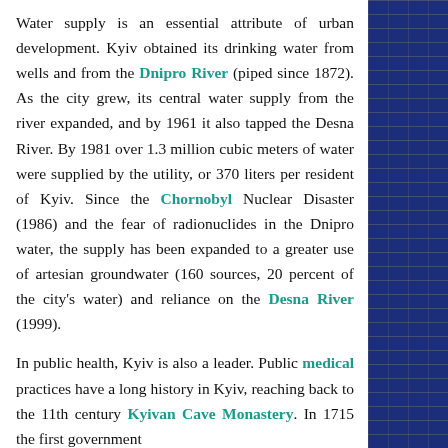Water supply is an essential attribute of urban development. Kyiv obtained its drinking water from wells and from the Dnipro River (piped since 1872). As the city grew, its central water supply from the river expanded, and by 1961 it also tapped the Desna River. By 1981 over 1.3 million cubic meters of water were supplied by the utility, or 370 liters per resident of Kyiv. Since the Chornobyl Nuclear Disaster (1986) and the fear of radionuclides in the Dnipro water, the supply has been expanded to a greater use of artesian groundwater (160 sources, 20 percent of the city's water) and reliance on the Desna River (1999).
In public health, Kyiv is also a leader. Public medical practices have a long history in Kyiv, reaching back to the 11th century Kyivan Cave Monastery. In 1715 the first government
[Figure (illustration): Decorative ornamental border on the right side of the page with dark blue background and gold/cream repeating figurative and floral motifs]